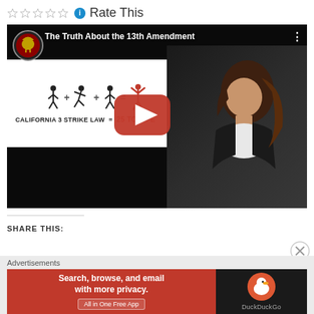Rate This
[Figure (screenshot): YouTube video thumbnail for 'The Truth About the 13th Amendment' showing stick figures with text 'CALIFORNIA 3 STRIKE LAW = 25 TO LIFE' and a woman being interviewed, with a red play button overlay]
SHARE THIS:
[Figure (other): DuckDuckGo advertisement banner with text 'Search, browse, and email with more privacy. All in One Free App' with DuckDuckGo logo on dark background]